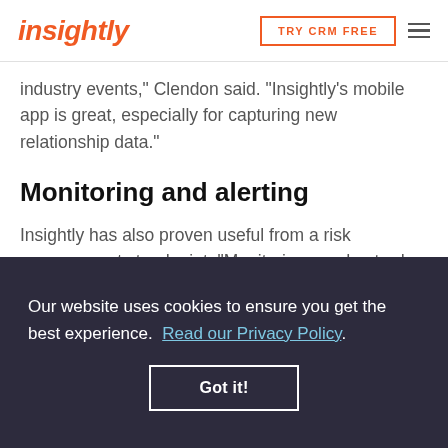insightly | TRY CRM FREE
industry events," Clendon said. “Insightly’s mobile app is great, especially for capturing new relationship data.”
Monitoring and alerting
Insightly has also proven useful from a risk management standpoint. “Monitoring our day-to-day sales processes is much simpler with Insightly,”
Our website uses cookies to ensure you get the best experience.  Read our Privacy Policy
Got it!